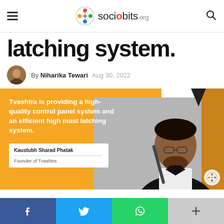sociobits.org
latching system.
By Niharika Tewari  Aug 30, 2022
[Figure (photo): Feature image with orange background. Quote: Tvashtra is providing a high-quality control panel system and an efficient high mast latching system. Attribution: Kaustubh Sharad Phatak, Founder of Tvashtra. Photo of a man in a black suit seated at a microphone.]
f  Twitter  WhatsApp  +